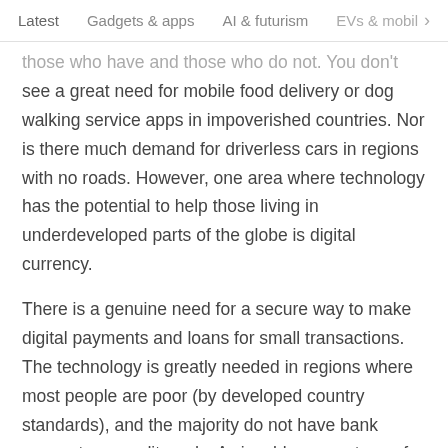Latest   Gadgets & apps   AI & futurism   EVs & mobil  >
those who have and those who do not. You don't see a great need for mobile food delivery or dog walking service apps in impoverished countries. Nor is there much demand for driverless cars in regions with no roads. However, one area where technology has the potential to help those living in underdeveloped parts of the globe is digital currency.
There is a genuine need for a secure way to make digital payments and loans for small transactions. The technology is greatly needed in regions where most people are poor (by developed country standards), and the majority do not have bank accounts or credit cards. A sizeable percentage of